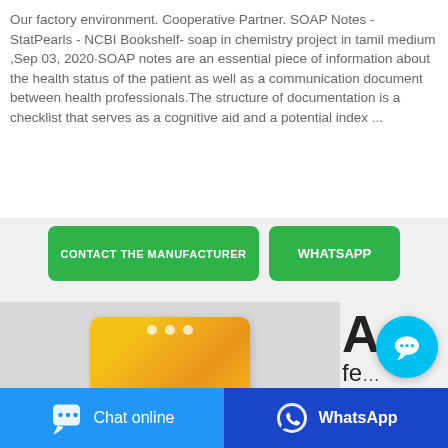Our factory environment. Cooperative Partner. SOAP Notes - StatPearls - NCBI Bookshelf- soap in chemistry project in tamil medium ,Sep 03, 2020·SOAP notes are an essential piece of information about the health status of the patient as well as a communication document between health professionals.The structure of documentation is a checklist that serves as a cognitive aid and a potential index ...
[Figure (other): Two call-to-action buttons: green 'CONTACT THE MANUFACTURER' button and green 'WHATSAPP' button]
[Figure (photo): Product image showing a yellow plastic pouch/bag of soap product on a grey background, partially visible. To the right, large text 'A' and partial text 'fe' and 'of' visible.]
[Figure (other): Circular cyan chat bubble icon with '...' speech bubble symbol]
[Figure (other): Bottom navigation bar with two buttons: blue 'Chat online' with chat icon on left, dark blue 'WhatsApp' with WhatsApp icon on right]